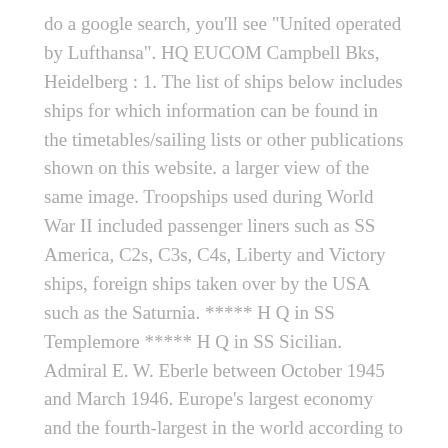do a google search, you'll see "United operated by Lufthansa". HQ EUCOM Campbell Bks, Heidelberg : 1. The list of ships below includes ships for which information can be found in the timetables/sailing lists or other publications shown on this website. a larger view of the same image. Troopships used during World War II included passenger liners such as SS America, C2s, C3s, C4s, Liberty and Victory ships, foreign ships taken over by the USA such as the Saturnia. ***** H Q in SS Templemore ***** H Q in SS Sicilian. Admiral E. W. Eberle between October 1945 and March 1946. Europe's largest economy and the fourth-largest in the world according to GDP, Germany is an economic powerhouse. SHE WAS SCRAPPED AT DALMUIR ... Share. Simon B. Buckner and USNS General Simon B. Buckner Transportation Service. If you are PCSing to Germany, try your best to get a flight operated by Lufthansa. B. Buckner was stricken from the Naval Vessel